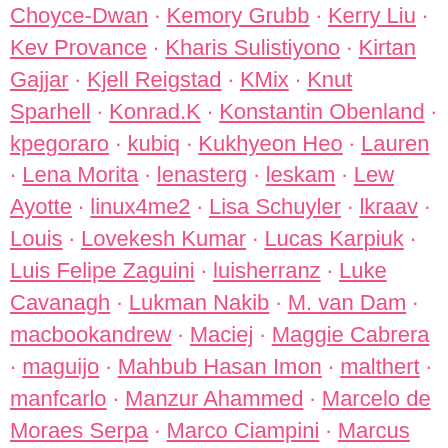Choyce-Dwan · Kemory Grubb · Kerry Liu · Kev Provance · Kharis Sulistiyono · Kirtan Gajjar · Kjell Reigstad · KMix · Knut Sparhell · Konrad.K · Konstantin Obenland · kpegoraro · kubiq · Kukhyeon Heo · Lauren · Lena Morita · lenasterg · leskam · Lew Ayotte · linux4me2 · Lisa Schuyler · lkraav · Louis · Lovekesh Kumar · Lucas Karpiuk · Luis Felipe Zaguini · luisherranz · Luke Cavanagh · Lukman Nakib · M. van Dam · macbookandrew · Maciej · Maggie Cabrera · maguijo · Mahbub Hasan Imon · malthert · manfcarlo · Manzur Ahammed · Marcelo de Moraes Serpa · Marco Ciampini · Marcus Kazmierczak · Marin Atanasov · Marius L. J. · Mark Jaquith · Markus Kosmal · marv2 · Mary Baum · Mat Lipe · Mathieu · Matias Ventura · matiasbenedetto · Matt Chowning · Matt Martz · Matt Mullenweg · Matt Royal · Matt